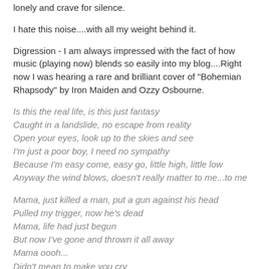lonely and crave for silence.
I hate this noise....with all my weight behind it.
Digression - I am always impressed with the fact of how music (playing now) blends so easily into my blog....Right now I was hearing a rare and brilliant cover of "Bohemian Rhapsody" by Iron Maiden and Ozzy Osbourne.
Is this the real life, is this just fantasy
Caught in a landslide, no escape from reality
Open your eyes, look up to the skies and see
I'm just a poor boy, I need no sympathy
Because I'm easy come, easy go, little high, little low
Anyway the wind blows, doesn't really matter to me...to me
Mama, just killed a man, put a gun against his head
Pulled my trigger, now he's dead
Mama, life had just begun
But now I've gone and thrown it all away
Mama oooh...
Didn't mean to make you cry
If I'm not back again this time tomorrow